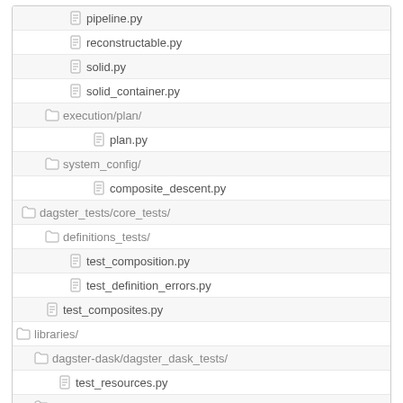pipeline.py
reconstructable.py
solid.py
solid_container.py
execution/plan/
plan.py
system_config/
composite_descent.py
dagster_tests/core_tests/
definitions_tests/
test_composition.py
test_definition_errors.py
test_composites.py
libraries/
dagster-dask/dagster_dask_tests/
test_resources.py
dagstermill/dagstermill_tests/
test_manager.py